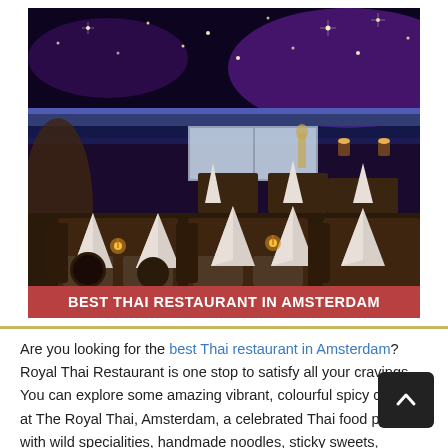[Figure (photo): Interior of a Thai restaurant in Amsterdam with purple/blue ambient lighting, star-lit ceiling, dark wooden furniture, tables set with white folded napkins and candles. A red banner at the bottom reads 'BEST THAI RESTAURANT IN AMSTERDAM'.]
BEST THAI RESTAURANT IN AMSTERDAM
Are you looking for the best Thai restaurant in Amsterdam?  Royal Thai Restaurant is one stop to satisfy all your cravings. You can explore some amazing vibrant, colourful spicy cuisine at The Royal Thai, Amsterdam, a celebrated Thai food place with wild specialities, handmade noodles, sticky sweets, elaborate meals and refreshing drinks. You can expect some authentic Thai food with a welcoming ambience in the restaurant. This place evokes nostalgia about old school Thai food that transports you to a happy place of excellent cuisine. As we speak of Thai food various details are kept